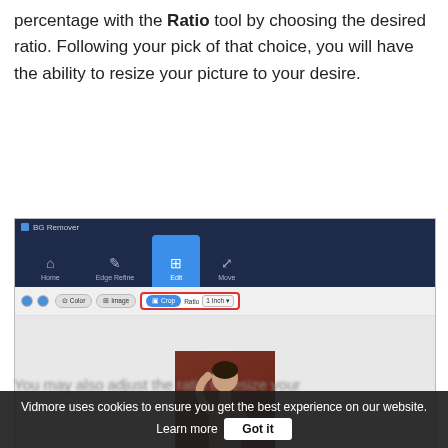percentage with the Ratio tool by choosing the desired ratio. Following your pick of that choice, you will have the ability to resize your picture to your desire.
[Figure (screenshot): Screenshot of BG Remover application showing nav bar with Home, Edge Refine, Edit (active/highlighted in blue), and Move tabs. Toolbar shows Color, Image, Crop (active, highlighted in blue with red border around Crop and Ratio controls), and Ratio dropdown set to '1 Inch'. Canvas area shows a photo of a person against a dark red background.]
Vidmore uses cookies to ensure you get the best experience on our website. Learn more